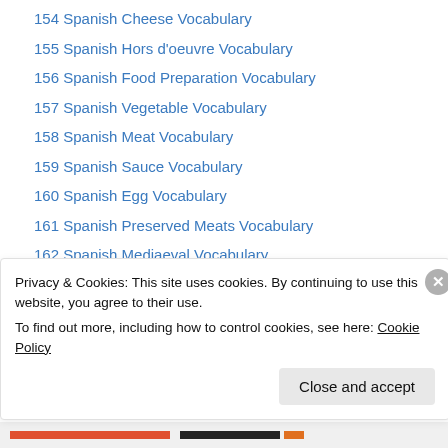154 Spanish Cheese Vocabulary
155 Spanish Hors d'oeuvre Vocabulary
156 Spanish Food Preparation Vocabulary
157 Spanish Vegetable Vocabulary
158 Spanish Meat Vocabulary
159 Spanish Sauce Vocabulary
160 Spanish Egg Vocabulary
161 Spanish Preserved Meats Vocabulary
162 Spanish Mediaeval Vocabulary
163 Spanish Fencing Terms
164 Spanish Import-Export Vocabulary
165 Spanish Geometry Terms
166 Spanish Literary Terms
Privacy & Cookies: This site uses cookies. By continuing to use this website, you agree to their use. To find out more, including how to control cookies, see here: Cookie Policy